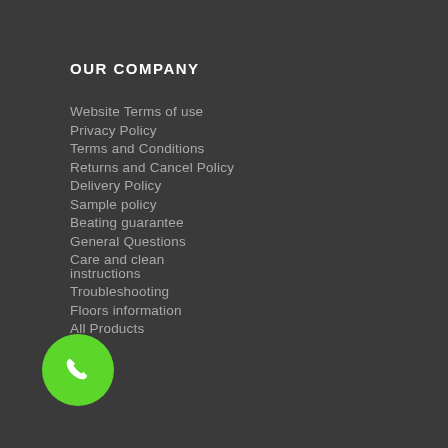OUR COMPANY
Website Terms of use
Privacy Policy
Terms and Conditions
Returns and Cancel Policy
Delivery Policy
Sample policy
Beating guarantee
General Questions
Care and clean instructions
Troubleshooting
Floors information
All Products
[Figure (illustration): Green circular phone/call button icon]